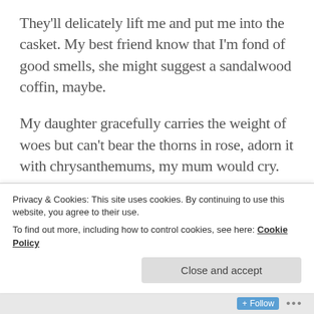They'll delicately lift me and put me into the casket. My best friend know that I'm fond of good smells, she might suggest a sandalwood coffin, maybe.
My daughter gracefully carries the weight of woes but can't bear the thorns in rose, adorn it with chrysanthemums, my mum would cry.
She drapes dreams as her dress and victory as her maquillage, dad would boast.
I would have written a note asking them to place
Privacy & Cookies: This site uses cookies. By continuing to use this website, you agree to their use.
To find out more, including how to control cookies, see here: Cookie Policy
Close and accept
Follow ···